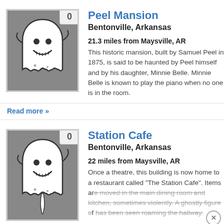[Figure (illustration): Ghost cartoon illustration on grey background with badge showing 0]
Peel Mansion
Bentonville, Arkansas
21.3 miles from Maysville, AR
This historic mansion, built by Samuel Peel in 1875, is said to be haunted by Peel himself and by his daughter, Minnie Belle. Minnie Belle is known to play the piano when no one is in the room.
Read more »
[Figure (illustration): Ghost cartoon illustration on grey background with badge showing 0]
Station Cafe
Bentonville, Arkansas
22 miles from Maysville, AR
Once a theatre, this building is now home to a restaurant called "The Station Cafe". Items are moved in the main dining room and kitchen, sometimes violently. A ghostly figure of a has been seen roaming the hallway.